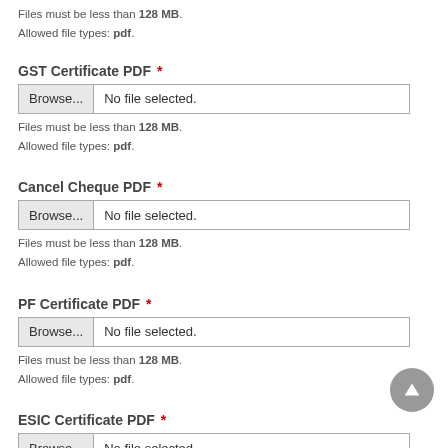Files must be less than 128 MB.
Allowed file types: pdf.
GST Certificate PDF *
No file selected.
Files must be less than 128 MB.
Allowed file types: pdf.
Cancel Cheque PDF *
No file selected.
Files must be less than 128 MB.
Allowed file types: pdf.
PF Certificate PDF *
No file selected.
Files must be less than 128 MB.
Allowed file types: pdf.
ESIC Certificate PDF *
No file selected.
Files must be less than 128 MB.